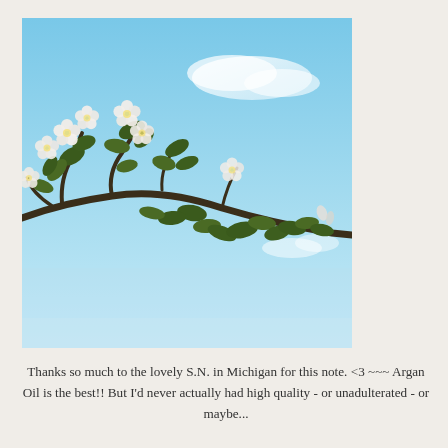[Figure (photo): Photo of a flowering tree branch with white blossoms and green leaves against a light blue sky with soft white clouds.]
Thanks so much to the lovely S.N. in Michigan for this note.  <3 ~~~ Argan Oil is the best!! But I'd never actually had high quality - or unadulterated - or maybe...